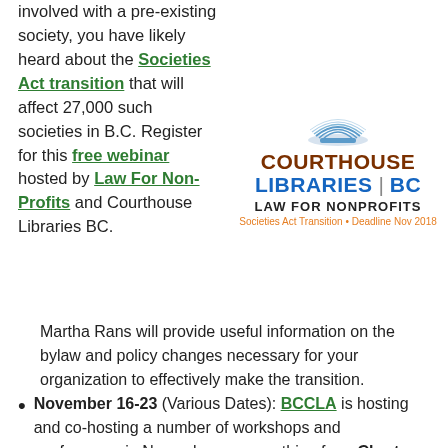involved with a pre-existing society, you have likely heard about the Societies Act transition that will affect 27,000 such societies in B.C. Register for this free webinar hosted by Law For Non-Profits and Courthouse Libraries BC.
[Figure (logo): Courthouse Libraries BC — Law For Nonprofits logo with book icon, subtitle: Societies Act Transition • Deadline Nov 2018]
Martha Rans will provide useful information on the bylaw and policy changes necessary for your organization to effectively make the transition.
November 16-23 (Various Dates): BCCLA is hosting and co-hosting a number of workshops and conferences in November on everything from Charter